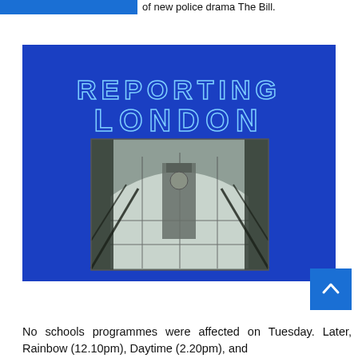of new police drama The Bill.
[Figure (photo): Title card for 'Reporting London' BBC regional news programme, showing neon-outlined text 'REPORTING LONDON' on a deep blue background above a black-and-white photograph of Big Ben / Palace of Westminster viewed through a large arched window with scaffolding.]
No schools programmes were affected on Tuesday. Later, Rainbow (12.10pm), Daytime (2.20pm), and